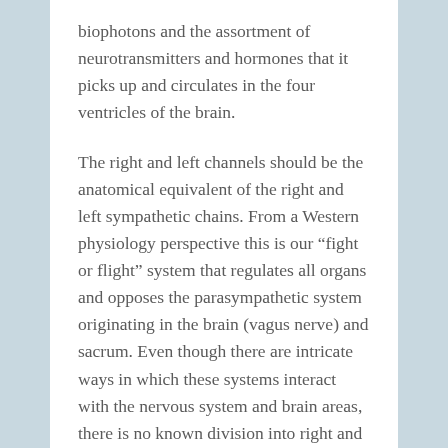biophotons and the assortment of neurotransmitters and hormones that it picks up and circulates in the four ventricles of the brain.
The right and left channels should be the anatomical equivalent of the right and left sympathetic chains. From a Western physiology perspective this is our “fight or flight” system that regulates all organs and opposes the parasympathetic system originating in the brain (vagus nerve) and sacrum. Even though there are intricate ways in which these systems interact with the nervous system and brain areas, there is no known division into right and left